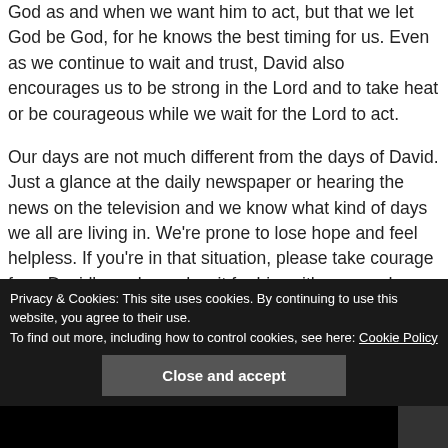God as and when we want him to act, but that we let God be God, for he knows the best timing for us. Even as we continue to wait and trust, David also encourages us to be strong in the Lord and to take heat or be courageous while we wait for the Lord to act.
Our days are not much different from the days of David. Just a glance at the daily newspaper or hearing the news on the television and we know what kind of days we all are living in. We're prone to lose hope and feel helpless. If you're in that situation, please take courage from David's psalm and wait for him with renewed strength and hope for that's the message of the Advent season.
Privacy & Cookies: This site uses cookies. By continuing to use this website, you agree to their use.
To find out more, including how to control cookies, see here: Cookie Policy
Close and accept